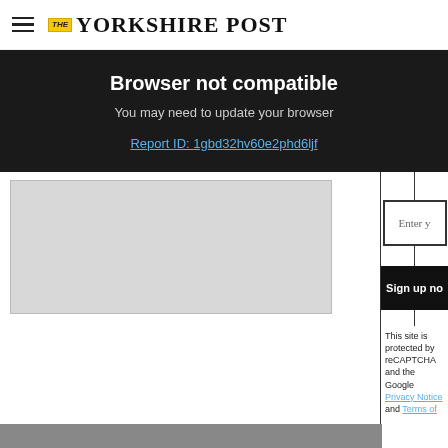THE YORKSHIRE POST
Browser not compatible
You may need to update your browser
Report ID: 1gbd32hv60e2phd6ljf
[Figure (screenshot): Partially rendered webpage content with grey advertisement placeholder box and right sidebar showing an email input field labeled 'Enter y', a 'Sign up no' button, and reCAPTCHA notice with Privacy Notice and Terms of links]
This site is protected by reCAPTCHA and the Google Privacy Notice and Terms of